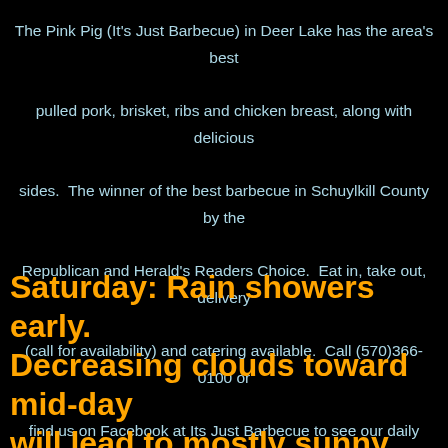The Pink Pig (It's Just Barbecue) in Deer Lake has the area's best pulled pork, brisket, ribs and chicken breast, along with delicious sides.  The winner of the best barbecue in Schuylkill County by the Republican and Herald's Readers Choice.  Eat in, take out, delivery (call for availability) and catering available.  Call (570)366-0100 or find us on Facebook at Its Just Barbecue to see our daily specials.  Mention this ad for 10% off your next order!
Saturday: Rain showers early. Decreasing clouds toward mid-day will lead to mostly sunny skies for the afternoon. High: 56